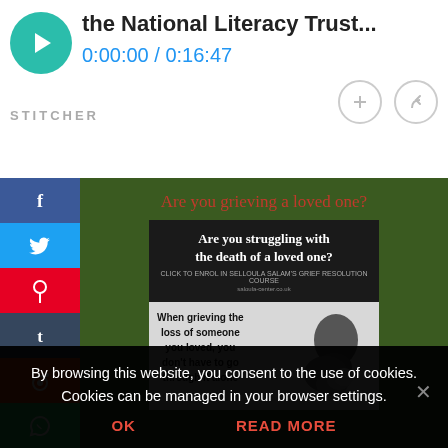[Figure (screenshot): Stitcher podcast player bar showing a podcast episode with title 'the National Literacy Trust...', time display '0:00:00 / 0:16:47', plus and share buttons, and STITCHER label]
[Figure (infographic): Social media sharing sidebar with Facebook, Twitter, Pinterest, Tumblr, Reddit, and WhatsApp buttons]
Are you grieving a loved one?
[Figure (illustration): Advertisement image with dark background showing 'Are you struggling with the death of a loved one?' and below it a grief support course advertisement showing a person with head in hands, text 'When grieving the loss of someone you loved, you don't have to go through it alone']
By browsing this website, you consent to the use of cookies. Cookies can be managed in your browser settings.